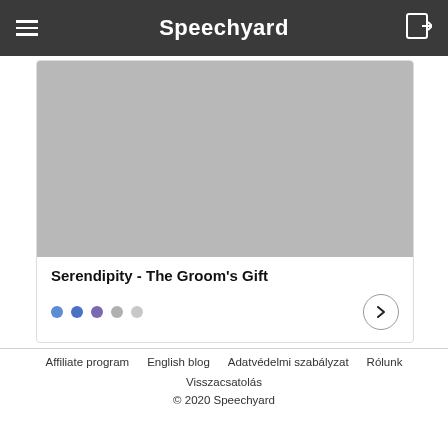Speechyard
[Figure (photo): Gray placeholder image for a card item]
Serendipity - The Groom's Gift
Pagination dots and next arrow button
Affiliate program   English blog   Adatvédelmi szabályzat   Rólunk   Visszacsatolás   © 2020 Speechyard